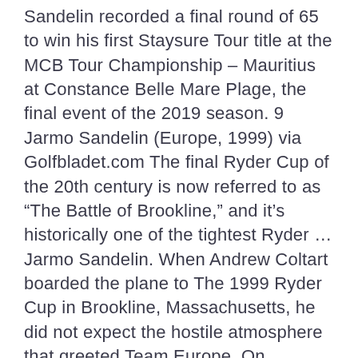Sandelin recorded a final round of 65 to win his first Staysure Tour title at the MCB Tour Championship – Mauritius at Constance Belle Mare Plage, the final event of the 2019 season. 9 Jarmo Sandelin (Europe, 1999) via Golfbladet.com The final Ryder Cup of the 20th century is now referred to as “The Battle of Brookline,” and it’s historically one of the tightest Ryder … Jarmo Sandelin. When Andrew Coltart boarded the plane to The 1999 Ryder Cup in Brookline, Massachusetts, he did not expect the hostile atmosphere that greeted Team Europe. On Saturday, someone flashed a camera just as Montgomerie was going to putt. A member of Europe’s 1999 Ryder Cup side and five-time European Tour winner, Sandelin waited 18 years